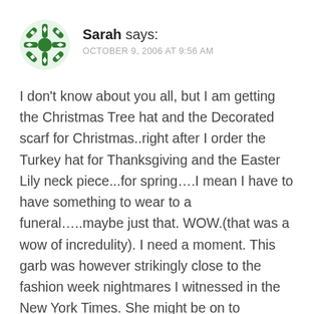[Figure (illustration): Green decorative avatar icon with snowflake/cross pattern]
Sarah says: OCTOBER 9, 2006 AT 9:56 AM
I don't know about you all, but I am getting the Christmas Tree hat and the Decorated scarf for Christmas..right after I order the Turkey hat for Thanksgiving and the Easter Lily neck piece...for spring....I mean I have to have something to wear to a funeral.....maybe just that. WOW.(that was a wow of incredulity). I need a moment. This garb was however strikingly close to the fashion week nightmares I witnessed in the New York Times. She might be on to something.
Like